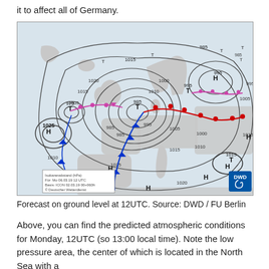it to affect all of Germany.
[Figure (map): Weather forecast map showing ground level pressure at 12UTC over Europe and the North Atlantic. Shows isobars labeled with pressure values (985, 990, 995, 1000, 1005, 1010, 1015, 1020, 1025), high pressure areas marked H, low pressure areas marked T, cold fronts (blue lines with triangles), warm fronts (red lines with semicircles), and occluded fronts (pink lines). DWD logo in bottom right corner. Legend box in bottom left showing: Isobarenabstand (hPa), Fur: Mo 06.03.19 12 UTC, Basis: ICON 02.03.19 00+060h, Deutscher Wetterdienst.]
Forecast on ground level at 12UTC. Source: DWD / FU Berlin
Above, you can find the predicted atmospheric conditions for Monday, 12UTC (so 13:00 local time). Note the low pressure area, the center of which is located in the North Sea with a